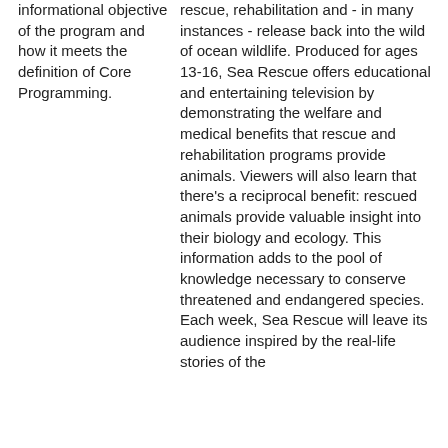informational objective of the program and how it meets the definition of Core Programming.
rescue, rehabilitation and - in many instances - release back into the wild of ocean wildlife. Produced for ages 13-16, Sea Rescue offers educational and entertaining television by demonstrating the welfare and medical benefits that rescue and rehabilitation programs provide animals. Viewers will also learn that there's a reciprocal benefit: rescued animals provide valuable insight into their biology and ecology. This information adds to the pool of knowledge necessary to conserve threatened and endangered species. Each week, Sea Rescue will leave its audience inspired by the real-life stories of the